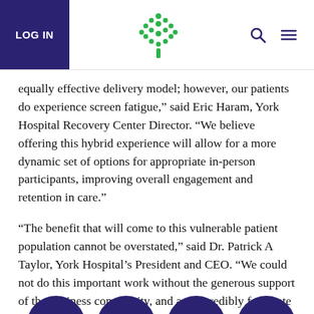LOG IN
equally effective delivery model; however, our patients do experience screen fatigue,” said Eric Haram, York Hospital Recovery Center Director. “We believe offering this hybrid experience will allow for a more dynamic set of options for appropriate in-person participants, improving overall engagement and retention in care.”
“The benefit that will come to this vulnerable patient population cannot be overstated,” said Dr. Patrick A Taylor, York Hospital’s President and CEO. “We could not do this important work without the generous support of the business community, and are incredibly fortunate to count Kennebunk Savings as a partner in our collaborative efforts to improve care for all who seek treatment and recovery from substance use disorders.”